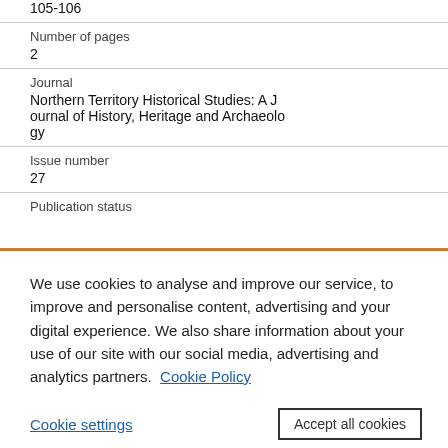105-106
Number of pages
2
Journal
Northern Territory Historical Studies: A Journal of History, Heritage and Archaeology
Issue number
27
Publication status
We use cookies to analyse and improve our service, to improve and personalise content, advertising and your digital experience. We also share information about your use of our site with our social media, advertising and analytics partners.  Cookie Policy
Cookie settings
Accept all cookies